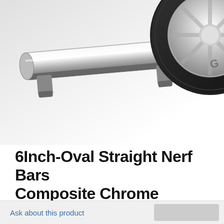[Figure (photo): Product photo showing chrome nerf bars/running board and a vehicle wheel/tire in upper right corner, on a light gray background.]
6Inch-Oval Straight Nerf Bars Composite Chrome 22368775
$493.95  $769.99
Shipping
Ask about this product